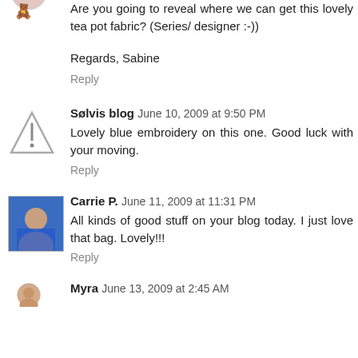Are you going to reveal where we can get this lovely tea pot fabric? (Series/ designer :-))
Regards, Sabine
Reply
Sølvis blog  June 10, 2009 at 9:50 PM
Lovely blue embroidery on this one. Good luck with your moving.
Reply
Carrie P.  June 11, 2009 at 11:31 PM
All kinds of good stuff on your blog today. I just love that bag. Lovely!!!
Reply
Myra  June 13, 2009 at 2:45 AM